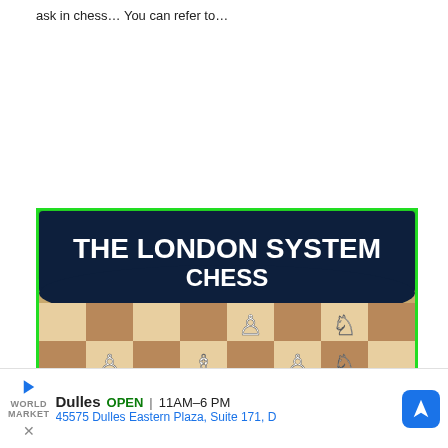ask in chess… You can refer to…
[Figure (illustration): Advertisement image for 'The London System Chess' showing a chess board with white pieces arranged in a London System opening, on a green and dark navy background with 'THE LONDON SYSTEM CHESS' text, and a ChessDelights watermark logo.]
Dulles   OPEN | 11AM–6PM
45575 Dulles Eastern Plaza, Suite 171, D